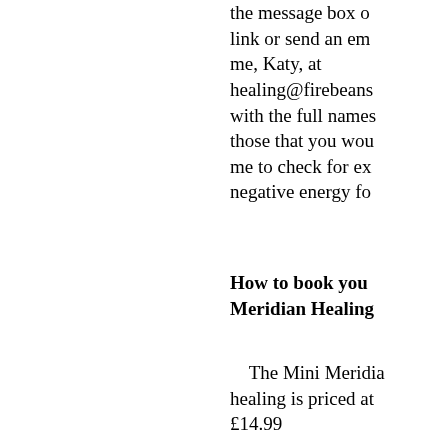the message box or link or send an email to me, Katy, at healing@firebeans... with the full names of those that you would like me to check for excess negative energy fo...
How to book your Meridian Healing
The Mini Meridian healing is priced at £14.99